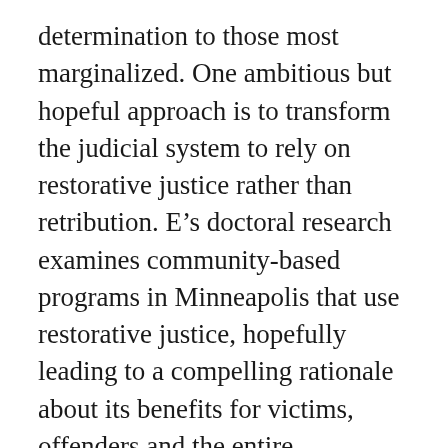determination to those most marginalized. One ambitious but hopeful approach is to transform the judicial system to rely on restorative justice rather than retribution. E’s doctoral research examines community-based programs in Minneapolis that use restorative justice, hopefully leading to a compelling rationale about its benefits for victims, offenders and the entire community.
E will use the Hawkinson scholarship for this research with an ultimate goal to teach, “ teaching in higher education [is a]